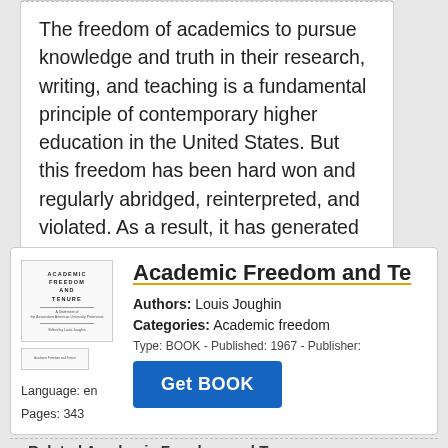The freedom of academics to pursue knowledge and truth in their research, writing, and teaching is a fundamental principle of contemporary higher education in the United States. But this freedom has been hard won and regularly abridged, reinterpreted, and violated. As a result, it has generated literature in a variety
Academic Freedom and Te
Authors: Louis Joughin
Categories: Academic freedom
Type: BOOK - Published: 1967 - Publisher:
Language: en
Pages: 343
Related Academic Freedom and T...